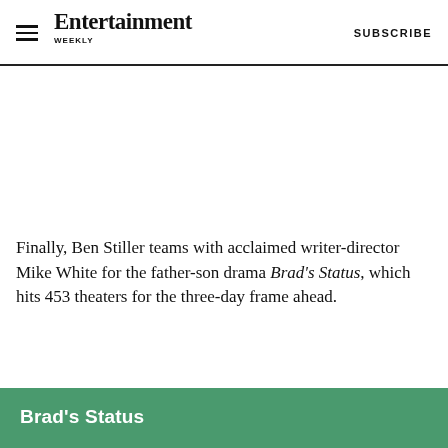Entertainment Weekly | SUBSCRIBE
[Figure (photo): Large image placeholder area (white/blank)]
Finally, Ben Stiller teams with acclaimed writer-director Mike White for the father-son drama Brad's Status, which hits 453 theaters for the three-day frame ahead.
Brad's Status